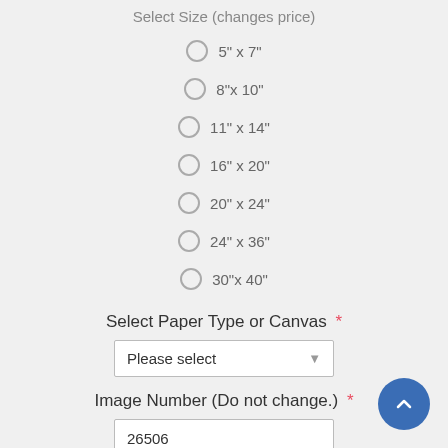Select Size (changes price)
5" x 7"
8"x 10"
11" x 14"
16" x 20"
20" x 24"
24" x 36"
30"x 40"
Select Paper Type or Canvas *
Please select
Image Number (Do not change.) *
26506